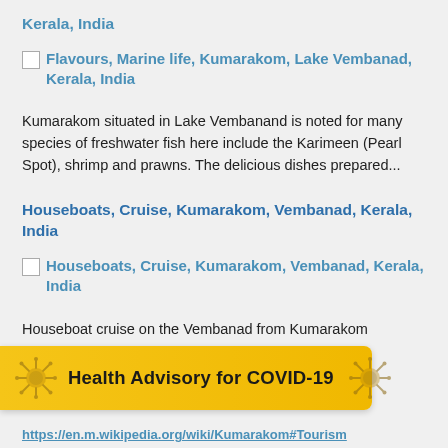Kerala, India
[Figure (illustration): Broken image placeholder for Flavours, Marine life, Kumarakom, Lake Vembanad, Kerala, India]
Flavours, Marine life, Kumarakom, Lake Vembanad, Kerala, India
Kumarakom situated in Lake Vembanand is noted for many species of freshwater fish here include the Karimeen (Pearl Spot), shrimp and prawns. The delicious dishes prepared...
Houseboats, Cruise, Kumarakom, Vembanad, Kerala, India
[Figure (illustration): Broken image placeholder for Houseboats, Cruise, Kumarakom, Vembanad, Kerala, India]
Houseboats, Cruise, Kumarakom, Vembanad, Kerala, India
Houseboat cruise on the Vembanad from Kumarakom
[Figure (infographic): Health Advisory for COVID-19 banner in gold/yellow color with virus illustrations]
https://en.m.wikipedia.org/wiki/Kumarakom#Tourism